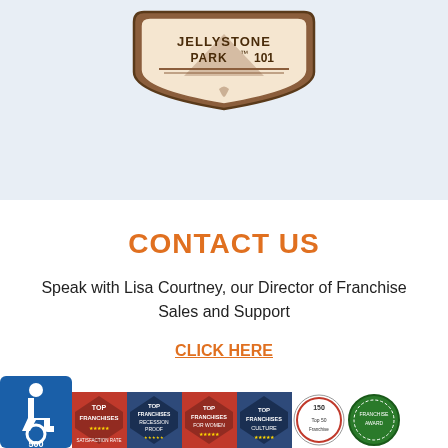[Figure (logo): Jellystone Park 101 logo - brown shield/badge shape with text 'JELLYSTONE PARK 101' on light blue background]
CONTACT US
Speak with Lisa Courtney, our Director of Franchise Sales and Support
CLICK HERE
[Figure (logo): Accessibility symbol (wheelchair) blue badge with '500' and several franchise award badges including Top Franchises, Recession Proof, Top Franchises for Women, Culture, Top 50 Franchise, and a circular seal]